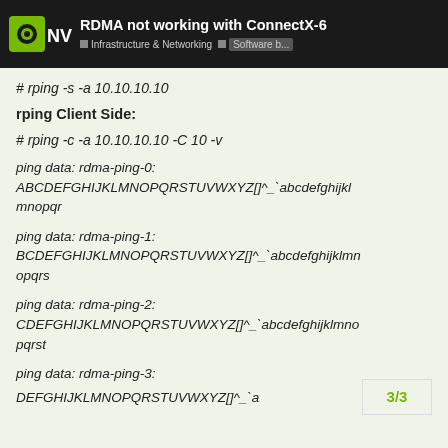RDMA not working with ConnectX-6 | Infrastructure & Networking | Software b...
# rping -s -a 10.10.10.10
rping Client Side:
# rping -c -a 10.10.10.10 -C 10 -v
ping data: rdma-ping-0:
ABCDEFGHIJKLMNOPQRSTUVWXYZ[]^_`abcdefghijklmnopqr
ping data: rdma-ping-1:
BCDEFGHIJKLMNOPQRSTUVWXYZ[]^_`abcdefghijklmnopqrs
ping data: rdma-ping-2:
CDEFGHIJKLMNOPQRSTUVWXYZ[]^_`abcdefghijklmnopqrst
ping data: rdma-ping-3:
DEFGHIJKLMNOPQRSTUVWXYZ[]^_`a...